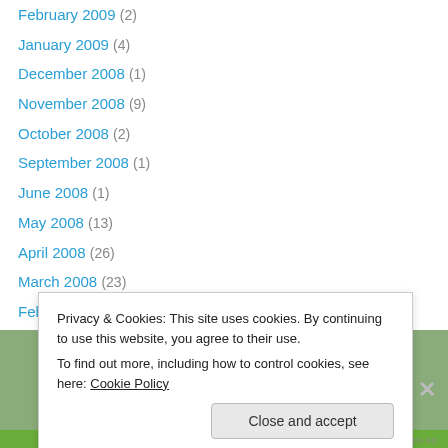February 2009 (2)
January 2009 (4)
December 2008 (1)
November 2008 (9)
October 2008 (2)
September 2008 (1)
June 2008 (1)
May 2008 (13)
April 2008 (26)
March 2008 (23)
February 2008 (10)
January 2008 (5)
Privacy & Cookies: This site uses cookies. By continuing to use this website, you agree to their use.
To find out more, including how to control cookies, see here: Cookie Policy